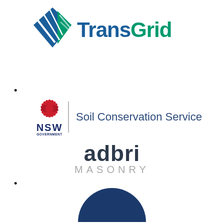[Figure (logo): TransGrid logo with diamond-shaped icon in blue and green, and bold TransGrid text in blue and green]
[Figure (logo): NSW Government logo with red waratah flower, NSW text in navy, and Soil Conservation Service text in navy blue]
[Figure (logo): adbri MASONRY logo with dark navy adbri text and grey MASONRY text below]
[Figure (logo): Partial dark navy blue circle/logo at bottom of page]